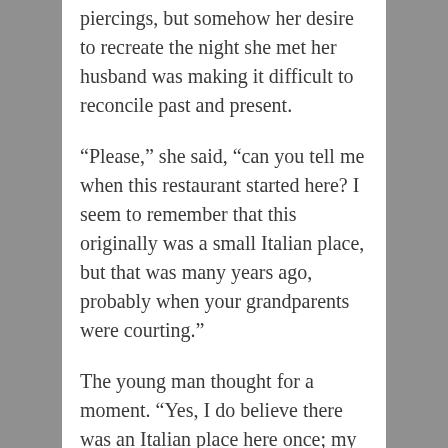piercings, but somehow her desire to recreate the night she met her husband was making it difficult to reconcile past and present.
“Please,” she said, “can you tell me when this restaurant started here? I seem to remember that this originally was a small Italian place, but that was many years ago, probably when your grandparents were courting.”
The young man thought for a moment. “Yes, I do believe there was an Italian place here once; my parents said they